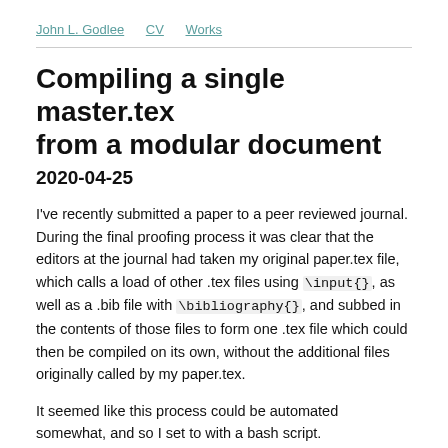John L. Godlee   CV   Works
Compiling a single master.tex from a modular document
2020-04-25
I've recently submitted a paper to a peer reviewed journal. During the final proofing process it was clear that the editors at the journal had taken my original paper.tex file, which calls a load of other .tex files using \input{}, as well as a .bib file with \bibliography{}, and subbed in the contents of those files to form one .tex file which could then be compiled on its own, without the additional files originally called by my paper.tex.
It seemed like this process could be automated somewhat, and so I set to with a bash script.